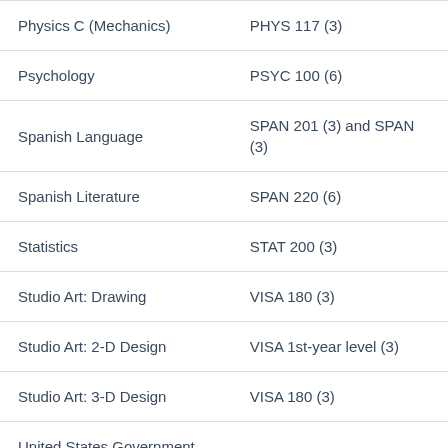| AP Exam Subject | Course Equivalent |
| --- | --- |
| Physics C (Mechanics) | PHYS 117 (3) |
| Psychology | PSYC 100 (6) |
| Spanish Language | SPAN 201 (3) and SPAN (3) |
| Spanish Literature | SPAN 220 (6) |
| Statistics | STAT 200 (3) |
| Studio Art: Drawing | VISA 180 (3) |
| Studio Art: 2-D Design | VISA 1st-year level (3) |
| Studio Art: 3-D Design | VISA 180 (3) |
| United States Government and Politics | POLI 1st-year level (3) |
| World History | HIST 1st-year level (3) |